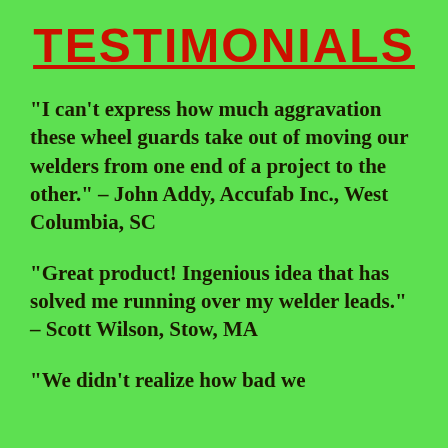TESTIMONIALS
"I can't express how much aggravation these wheel guards take out of moving our welders from one end of a project to the other." - John Addy, Accufab Inc., West Columbia, SC
"Great product! Ingenious idea that has solved me running over my welder leads." - Scott Wilson, Stow, MA
"We didn't realize how bad we